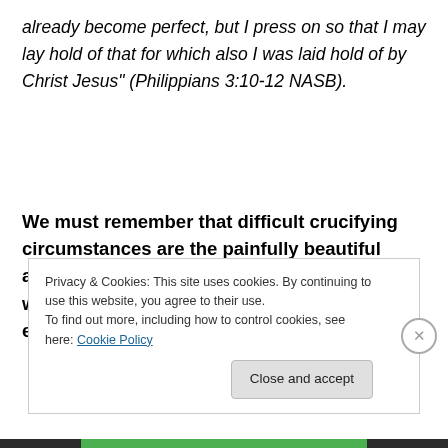already become perfect, but I press on so that I may lay hold of that for which also I was laid hold of by Christ Jesus" (Philippians 3:10-12 NASB).
We must remember that difficult crucifying circumstances are the painfully beautiful agents that form you into His very image where you are filled with tangible effervescent joy, unwavering powerful love,
Privacy & Cookies: This site uses cookies. By continuing to use this website, you agree to their use.
To find out more, including how to control cookies, see here: Cookie Policy